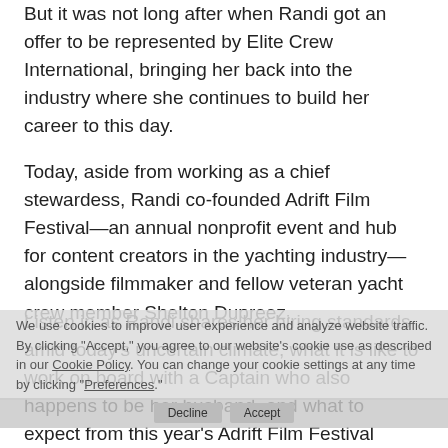But it was not long after when Randi got an offer to be represented by Elite Crew International, bringing her back into the industry where she continues to build her career to this day.
Today, aside from working as a chief stewardess, Randi co-founded Adrift Film Festival—an annual nonprofit event and hub for content creators in the yachting industry—alongside filmmaker and fellow veteran yacht crew member Shelton Dupreez.
Listen in as Randi shares her hiring standards amid today's uncertain climate, what it is like to work on board with a Captain who also happens to be her husband, and what to expect from this year's Adrift Film Festival
We use cookies to improve user experience and analyze website traffic. By clicking "Accept," you agree to our website's cookie use as described in our Cookie Policy. You can change your cookie settings at any time by clicking "Preferences."